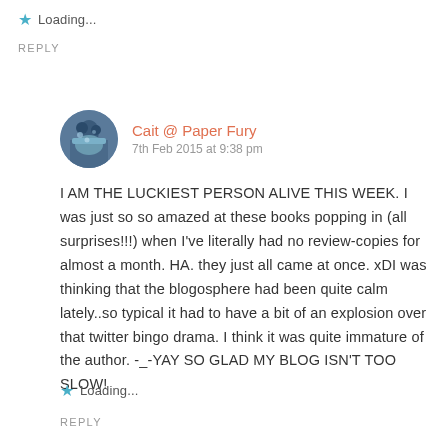Loading...
REPLY
Cait @ Paper Fury
7th Feb 2015 at 9:38 pm
I AM THE LUCKIEST PERSON ALIVE THIS WEEK. I was just so so amazed at these books popping in (all surprises!!!) when I've literally had no review-copies for almost a month. HA. they just all came at once. xDI was thinking that the blogosphere had been quite calm lately..so typical it had to have a bit of an explosion over that twitter bingo drama. I think it was quite immature of the author. -_-YAY SO GLAD MY BLOG ISN'T TOO SLOW!
Loading...
REPLY